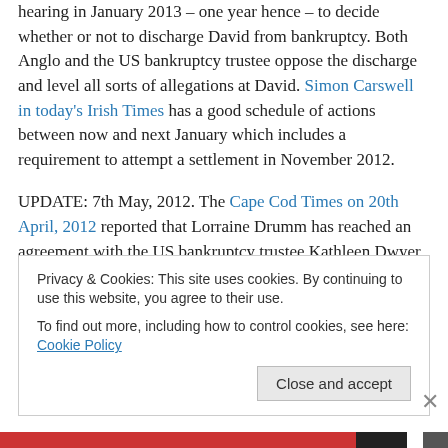hearing in January 2013 – one year hence – to decide whether or not to discharge David from bankruptcy. Both Anglo and the US bankruptcy trustee oppose the discharge and level all sorts of allegations at David. Simon Carswell in today's Irish Times has a good schedule of actions between now and next January which includes a requirement to attempt a settlement in November 2012.
UPDATE: 7th May, 2012. The Cape Cod Times on 20th April, 2012 reported that Lorraine Drumm has reached an agreement with the US bankruptcy trustee Kathleen Dwyer whereby she, Lorraine, will hand over USD 1.2m
Privacy & Cookies: This site uses cookies. By continuing to use this website, you agree to their use.
To find out more, including how to control cookies, see here: Cookie Policy